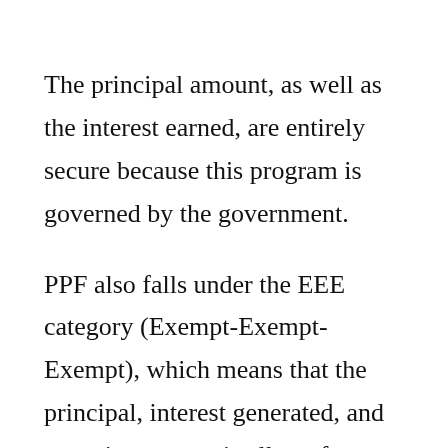The principal amount, as well as the interest earned, are entirely secure because this program is governed by the government.
PPF also falls under the EEE category (Exempt-Exempt-Exempt), which means that the principal, interest generated, and maturity amount is all tax-free. PPF contributions (up to Rs 1.5 lakh per year) are tax-deductible under section 80C of the Income Tax Act.